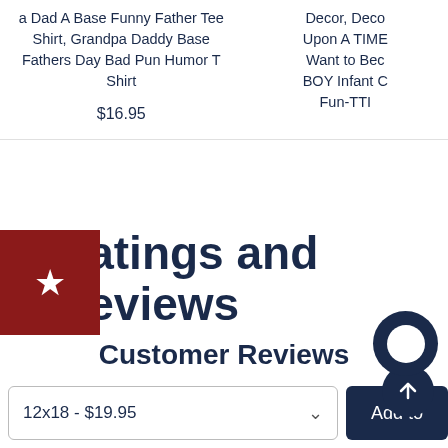a Dad A Base Funny Father Tee Shirt, Grandpa Daddy Base Fathers Day Bad Pun Humor T Shirt
$16.95
Decor, Deco Upon A TIME Want to Bec BOY Infant C Fun-TTI
Ratings and Reviews
Customer Reviews
No reviews yet
12x18 - $19.95
Add to